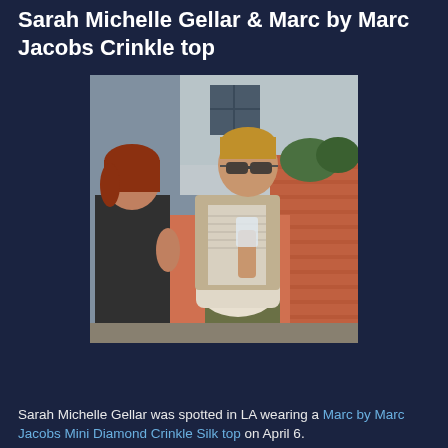Sarah Michelle Gellar & Marc by Marc Jacobs Crinkle top
[Figure (photo): Sarah Michelle Gellar and another woman standing outdoors near a brick wall. Sarah is wearing sunglasses, a beige cardigan over a crinkle top, olive/khaki pants, and carrying a large white handbag.]
Sarah Michelle Gellar was spotted in LA wearing a Marc by Marc Jacobs Mini Diamond Crinkle Silk top on April 6.